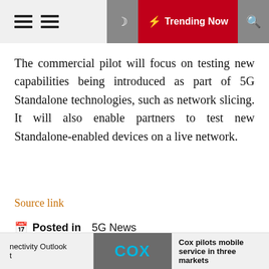Trending Now
The commercial pilot will focus on testing new capabilities being introduced as part of 5G Standalone technologies, such as network slicing. It will also enable partners to test new Standalone-enabled devices on a live network.
Source link
Posted in  5G News
LTEData
https://cellulardataconnection.com
nectivity Outlook t   Cox pilots mobile service in three markets